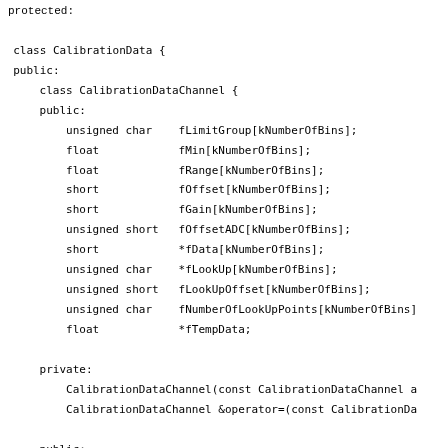protected:

  class CalibrationData {
  public:
      class CalibrationDataChannel {
      public:
          unsigned char    fLimitGroup[kNumberOfBins];
          float            fMin[kNumberOfBins];
          float            fRange[kNumberOfBins];
          short            fOffset[kNumberOfBins];
          short            fGain[kNumberOfBins];
          unsigned short   fOffsetADC[kNumberOfBins];
          short            *fData[kNumberOfBins];
          unsigned char    *fLookUp[kNumberOfBins];
          unsigned short   fLookUpOffset[kNumberOfBins];
          unsigned char    fNumberOfLookUpPoints[kNumberOfBins]
          float            *fTempData;

      private:
          CalibrationDataChannel(const CalibrationDataChannel a
          CalibrationDataChannel &operator=(const CalibrationDa

      public:
          CalibrationDataChannel(int numberOfGridPoints)
          :fTempData(new float[numberOfGridPoints]) {
              int i;
              for (i = 0; i < kNumberOfBins; i++) {
                  fData[i] = new short[numberOfGridPoints];
              }
              memset(fLimitGroup,              0, sizeof(fLimitGro
              memset(fMin,                     0, sizeof(fMin));
              memset(fRange,                   0, sizeof(fRange));